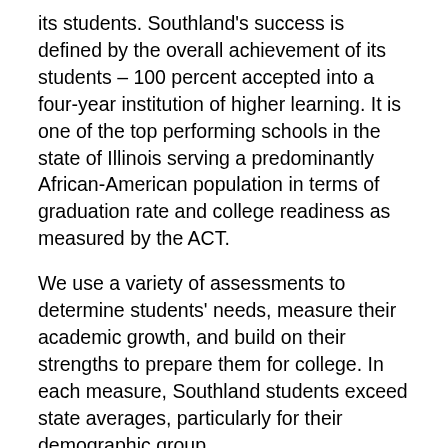its students. Southland's success is defined by the overall achievement of its students – 100 percent accepted into a four-year institution of higher learning. It is one of the top performing schools in the state of Illinois serving a predominantly African-American population in terms of graduation rate and college readiness as measured by the ACT.
We use a variety of assessments to determine students' needs, measure their academic growth, and build on their strengths to prepare them for college. In each measure, Southland students exceed state averages, particularly for their demographic group.
Southland is driven to ensure that our students have unlimited possibilities and unlimited potential, and we continue to prove the possible with our